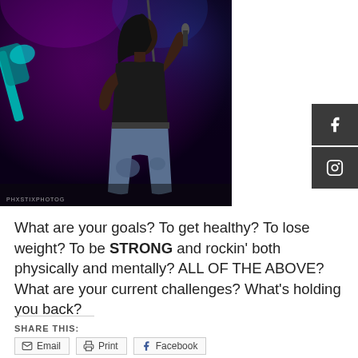[Figure (photo): Female singer performing on stage, holding microphone up, wearing black top and torn jeans, guitarist visible in background with teal guitar, purple stage lighting. Watermark text: PHXSTIXPHOTOG or similar.]
What are your goals?  To get healthy?  To lose weight?  To be STRONG and rockin' both physically and mentally?  ALL OF THE ABOVE?  What are your current challenges?  What's holding you back?
SHARE THIS:
Email
Print
Facebook